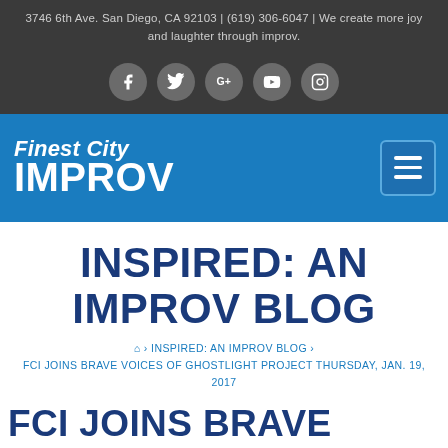3746 6th Ave. San Diego, CA 92103 | (619) 306-6047 | We create more joy and laughter through improv.
[Figure (other): Social media icons row: Facebook, Twitter, Google+, YouTube, Instagram — white icons on gray circular backgrounds]
[Figure (logo): Finest City Improv logo in white italic bold text on blue background, with hamburger menu button on right]
INSPIRED: AN IMPROV BLOG
🏠 › INSPIRED: AN IMPROV BLOG › FCI JOINS BRAVE VOICES OF GHOSTLIGHT PROJECT THURSDAY, JAN. 19, 2017
FCI JOINS BRAVE VOICES OF